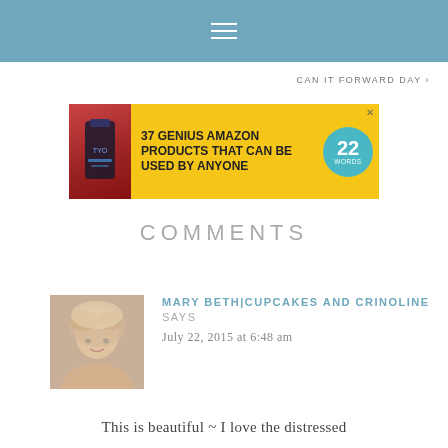≡
CAN IT FORWARD DAY »
[Figure (infographic): Advertisement banner: yellow background with supplement bottle image, text '37 GENIUS AMAZON PRODUCTS THAT CAN BE USED BY ANYONE', teal circular badge with '22 WORDS']
COMMENTS
[Figure (photo): Profile photo of a blonde woman with wavy hair]
MARY BETH|CUPCAKES AND CRINOLINE SAYS
July 22, 2015 at 6:48 am
This is beautiful ~ I love the distressed